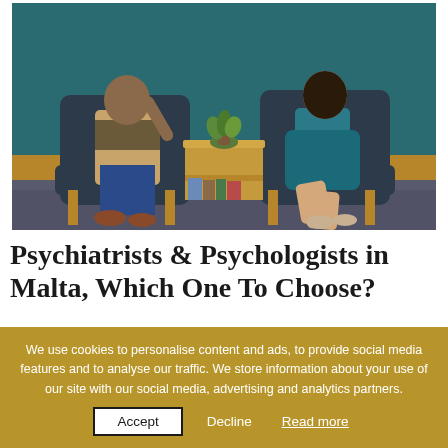[Figure (photo): Two people sitting in armchairs facing each other in a therapy/consultation setting. A man on the left is gesturing while speaking, and a woman on the right is listening. There is a small wooden side table between them with a plant and glasses. The wall behind them is teal/dark blue with a wooden panel at mid-height.]
Psychiatrists & Psychologists in Malta, Which One To Choose?
We use cookies to personalise content and ads, to provide social media features and to analyse our traffic. We store information about your use of our site with our social media, advertising and analytics partners.